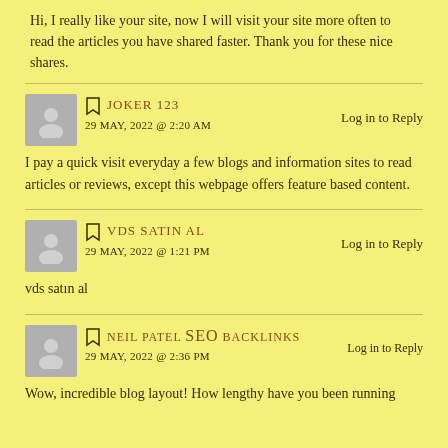Hi, I really like your site, now I will visit your site more often to read the articles you have shared faster. Thank you for these nice shares.
JOKER 123
29 MAY, 2022 @ 2:20 AM
Log in to Reply
I pay a quick visit everyday a few blogs and information sites to read
articles or reviews, except this webpage offers feature based content.
VDS SATIN AL
29 MAY, 2022 @ 1:21 PM
Log in to Reply
vds satın al
NEIL PATEL SEO BACKLINKS
29 MAY, 2022 @ 2:36 PM
Log in to Reply
Wow, incredible blog layout! How lengthy have you been running